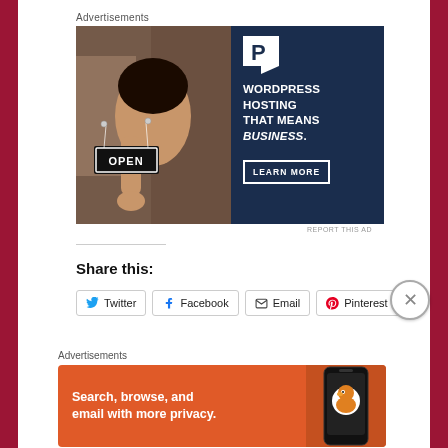Advertisements
[Figure (illustration): WordPress hosting advertisement banner. Left half shows a smiling woman holding an OPEN sign. Right half is dark navy blue with a white P logo, text 'WORDPRESS HOSTING THAT MEANS BUSINESS.' and a 'LEARN MORE' button.]
REPORT THIS AD
Share this:
Twitter
Facebook
Email
Pinterest
Advertisements
[Figure (illustration): DuckDuckGo advertisement banner on orange background. Text: 'Search, browse, and email with more privacy.' with a phone image showing the DuckDuckGo duck logo.]